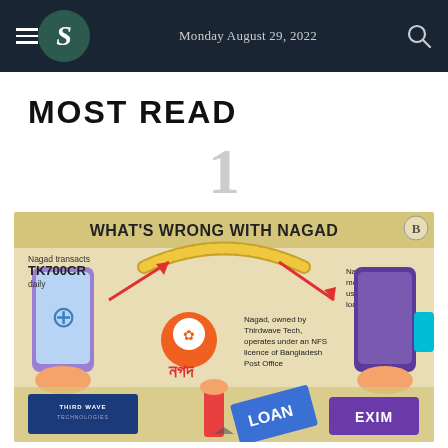Monday August 29, 2022
MOST READ
1
[Figure (infographic): Infographic titled 'WHAT'S WRONG WITH NAGAD' showing: Nagad transacts TK700CR daily; Nagad owned by Thirdwave Tech operates under an NFS licence of Bangladesh Post Office; Nagad's customer money cannot be used for obtaining loans. Shows phones, Nagad logo, loan card, EXIM card, Third Wave Technologies branding.]